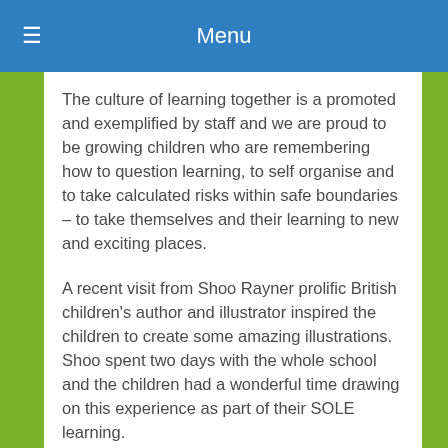Menu
The culture of learning together is a promoted and exemplified by staff and we are proud to be growing children who are remembering how to question learning, to self organise and to take calculated risks within safe boundaries – to take themselves and their learning to new and exciting places.
A recent visit from Shoo Rayner prolific British children's author and illustrator inspired the children to create some amazing illustrations. Shoo spent two days with the whole school and the children had a wonderful time drawing on this experience as part of their SOLE learning.